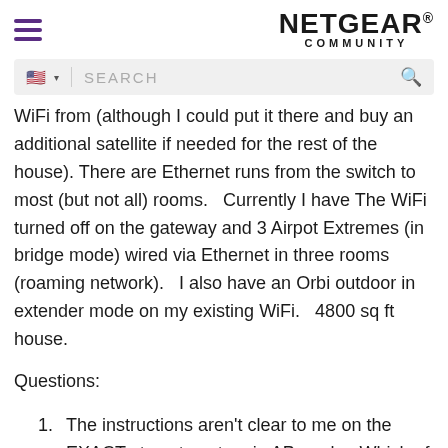[Figure (logo): NETGEAR COMMUNITY logo with hamburger menu icon on the left]
[Figure (screenshot): Search bar with US flag icon and search placeholder text]
WiFi from (although I could put it there and buy an additional satellite if needed for the rest of the house). There are Ethernet runs from the switch to most (but not all) rooms.   Currently I have The WiFi turned off on the gateway and 3 Airpot Extremes (in bridge mode) wired via Ethernet in three rooms (roaming network).   I also have an Orbi outdoor in extender mode on my existing WiFi.   4800 sq ft house.
Questions:
The instructions aren't clear to me on the EXACT steps to set up in AP mode.  Which of these